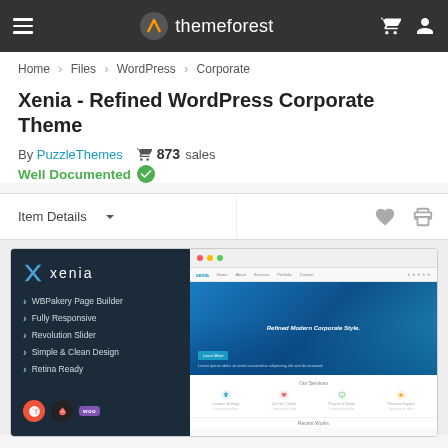themeforest
Home › Files › WordPress › Corporate
Xenia - Refined WordPress Corporate Theme
By PuzzleThemes  873 sales
Well Documented ✓
Item Details
[Figure (screenshot): Screenshot of Xenia WordPress theme promotional page showing dark left panel with xenia logo and feature list (WBPakery Page Builder, Fully Responsive, Revolution Slider, Simple & Clean Design, Retina Ready), plugin badges (Elementor, Lasso, WooCommerce), and right side browser mockup showing corporate website with hero image of city buildings and service icons below.]